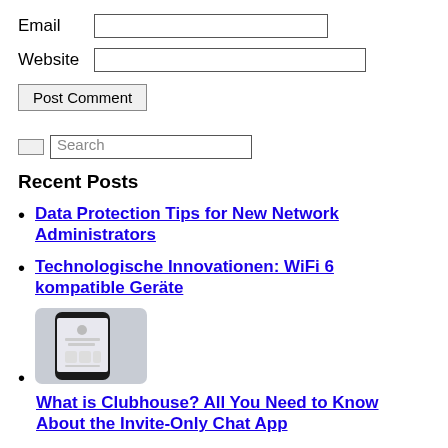Email [input field]
Website [input field]
Post Comment [button]
Search [input field]
Recent Posts
Data Protection Tips for New Network Administrators
Technologische Innovationen: WiFi 6 kompatible Geräte
[Figure (photo): Photo of a smartphone displaying a social app screen, on a light grey background]
What is Clubhouse? All You Need to Know About the Invite-Only Chat App